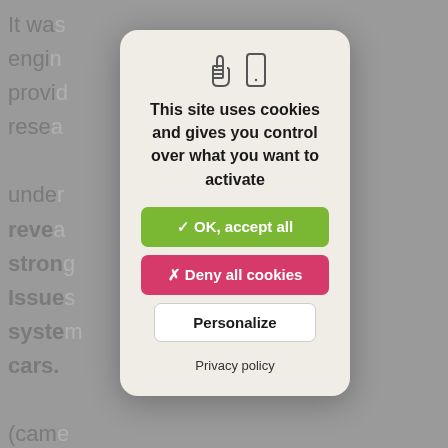It was engi provid resea unde reve stron Issue syste cars. (cam exam proc data dete parti or wh for e
[Figure (screenshot): Cookie consent modal dialog with two icons (pointing hand and mobile phone), title 'This site uses cookies and gives you control over what you want to activate', a green OK accept all button, a red Deny all cookies button, a white Personalize button, and a Privacy policy link.]